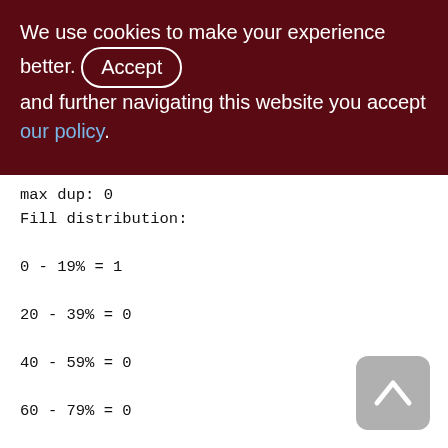We use cookies to make your experience better. By accepting and further navigating this website you accept our policy.
max dup: 0
Fill distribution:
0 - 19% = 1
20 - 39% = 0
40 - 59% = 0
60 - 79% = 0
80 - 99% = 0

Index ZQDISTR_WARE_SNDOP_RCVOP (1)
Depth: 1, leaf buckets: 1, nodes: 0
Average data length: 0.00, total dup: 0,
max dup: 0
Fill distribution: